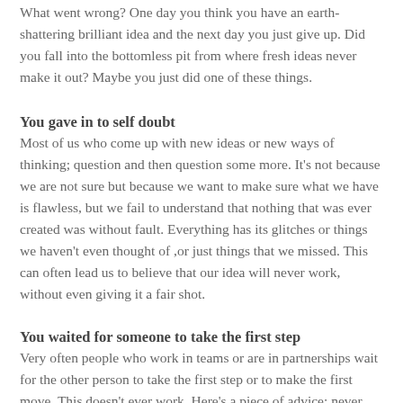What went wrong? One day you think you have an earth-shattering brilliant idea and the next day you just give up. Did you fall into the bottomless pit from where fresh ideas never make it out? Maybe you just did one of these things.
You gave in to self doubt
Most of us who come up with new ideas or new ways of thinking; question and then question some more. It's not because we are not sure but because we want to make sure what we have is flawless, but we fail to understand that nothing that was ever created was without fault. Everything has its glitches or things we haven't even thought of ,or just things that we missed. This can often lead us to believe that our idea will never work, without even giving it a fair shot.
You waited for someone to take the first step
Very often people who work in teams or are in partnerships wait for the other person to take the first step or to make the first move. This doesn't ever work. Here's a piece of advice: never ever wait for someone else. Your idea is your baby, it's